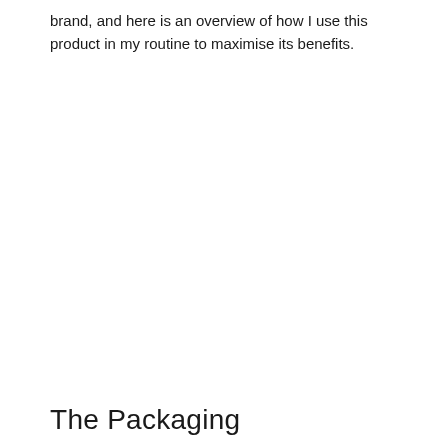brand, and here is an overview of how I use this product in my routine to maximise its benefits.
The Packaging